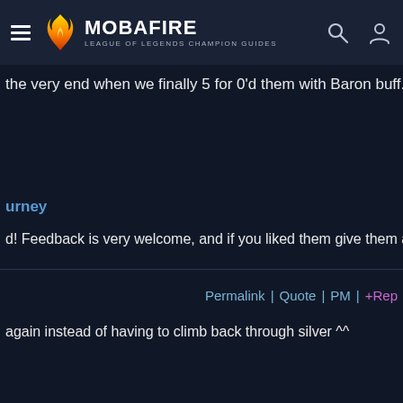MOBAFIRE — LEAGUE OF LEGENDS CHAMPION GUIDES
the very end when we finally 5 for 0'd them with Baron buff.
urney
d! Feedback is very welcome, and if you liked them give them a vote!
Permalink | Quote | PM | +Rep
again instead of having to climb back through silver ^^